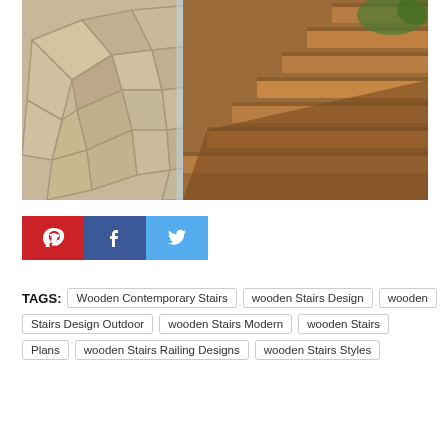[Figure (photo): Photograph of modern wooden floating stairs with glass railing beside a stone tile floor, warm brown wood tones]
[Figure (infographic): Social share buttons row: Pinterest (red with P icon), Facebook (blue with f icon), Twitter (light blue with bird icon)]
TAGS: Wooden Contemporary Stairs | wooden Stairs Design | wooden Stairs Design Outdoor | wooden Stairs Modern | wooden Stairs | Plans | wooden Stairs Railing Designs | wooden Stairs Styles